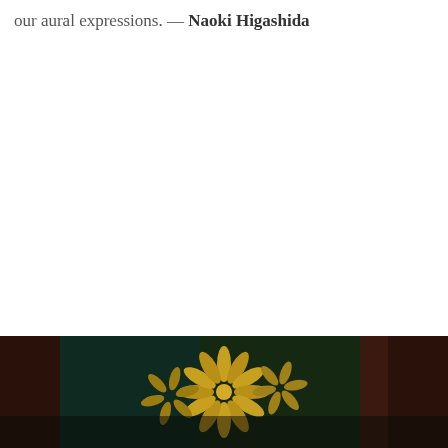our aural expressions. — Naoki Higashida
[Figure (photo): A dark-toned photograph showing what appears to be a decorative or artistic image with golden/yellow leaf or hand-like shapes against a dark green and brown background.]